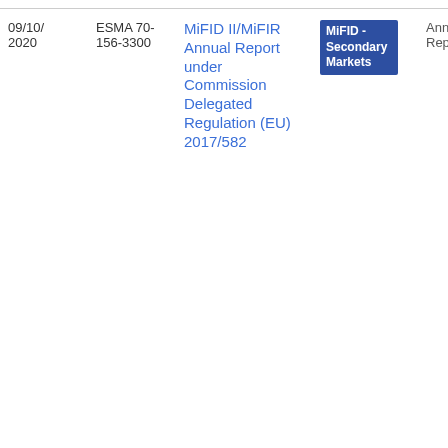| Date | Reference | Title | Topic | Type | File |
| --- | --- | --- | --- | --- | --- |
| 09/10/2020 | ESMA 70-156-3300 | MiFID II/MiFIR Annual Report under Commission Delegated Regulation (EU) 2017/582 | MiFID - Secondary Markets | Annual Report | PDF 477.23 KB |